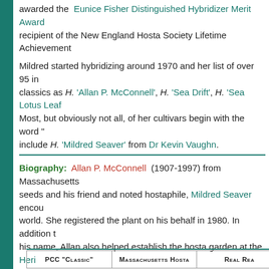awarded the Eunice Fisher Distinguished Hybridizer Merit Award recipient of the New England Hosta Society Lifetime Achievement
Mildred started hybridizing around 1970 and her list of over 95 in classics as H. 'Allan P. McConnell', H. 'Sea Drift', H. 'Sea Lotus Leaf' Most, but obviously not all, of her cultivars begin with the word "" include H. 'Mildred Seaver' from Dr Kevin Vaughn.
Biography: Allan P. McConnell (1907-1997) from Massachusetts seeds and his friend and noted hostaphile, Mildred Seaver encour world. She registered the plant on his behalf in 1980. In addition t his name, Allan also helped establish the hosta garden at the Heri Massachusetts.
Biography: Dr Warren Pollock is a renowned expert on the gen for his multiple long time series in The Hosta Journal titled "What'" "Reflections". He has served as editor of the Journal and on the N Warren has been awarded the Lifetime Achievement Award by Th Society for his numerous efforts to increase o of l
PCC "Classic"     Massachusetts Hosta     Real Rea